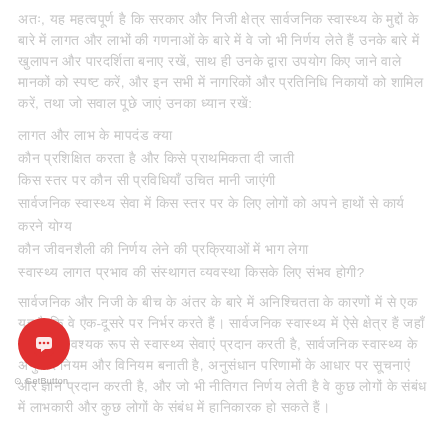अतः, यह महत्वपूर्ण है कि सरकार और निजी क्षेत्र सार्वजनिक स्वास्थ्य के मुद्दों के बारे में लागत और लाभों की गणनाओं के बारे में वे जो भी निर्णय लेते हैं उनके बारे में खुलापन और पारदर्शिता बनाए रखें, साथ ही उनके द्वारा उपयोग किए जाने वाले मानकों को स्पष्ट करें, और इन सभी में नागरिकों और प्रतिनिधि निकायों को शामिल करें, तथा जो सवाल पूछे जाएं उनका ध्यान रखें:
लागत और लाभ के मापदंड क्या
कौन प्रशिक्षित करता है और किसे प्राथमिकता दी जाती
किस स्तर पर कौन सी प्रविधियाँ उचित मानी जाएंगी
सार्वजनिक स्वास्थ्य सेवा में किस स्तर पर के लिए लोगों को अपने हाथों से कार्य करने योग्य
कौन जीवनशैली की निर्णय लेने की प्रक्रियाओं में भाग लेगा
स्वास्थ्य लागत प्रभाव की संस्थागत व्यवस्था किसके लिए संभव होगी?
सार्वजनिक और निजी के बीच के अंतर के बारे में अनिश्चितता के कारणों में से एक यह है कि वे एक-दूसरे पर निर्भर करते हैं। सार्वजनिक स्वास्थ्य में ऐसे क्षेत्र हैं जहाँ सरकार आवश्यक रूप से स्वास्थ्य सेवाएं प्रदान करती है, सार्वजनिक स्वास्थ्य के अनुसार नियम और विनियम बनाती है, अनुसंधान परिणामों के आधार पर सूचनाएं और ज्ञान प्रदान करती है, और जो भी नीतिगत निर्णय लेती है वे कुछ लोगों के संबंध में लाभकारी और कुछ लोगों के संबंध में हानिकारक हो सकते हैं।